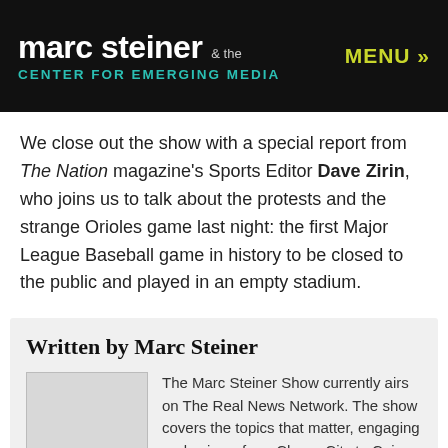marc steiner & the CENTER FOR EMERGING MEDIA | MENU »
We close out the show with a special report from The Nation magazine's Sports Editor Dave Zirin, who joins us to talk about the protests and the strange Orioles game last night: the first Major League Baseball game in history to be closed to the public and played in an empty stadium.
Written by Marc Steiner
The Marc Steiner Show currently airs on The Real News Network. The show covers the topics that matter, engaging real voices, from Charm City to Cairo and beyond. Email us to share your comments with us.